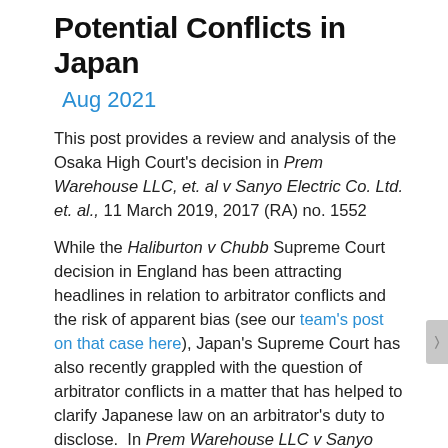Potential Conflicts in Japan
Aug 2021
This post provides a review and analysis of the Osaka High Court's decision in Prem Warehouse LLC, et. al v Sanyo Electric Co. Ltd. et. al., 11 March 2019, 2017 (RA) no. 1552
While the Haliburton v Chubb Supreme Court decision in England has been attracting headlines in relation to arbitrator conflicts and the risk of apparent bias (see our team's post on that case here), Japan's Supreme Court has also recently grappled with the question of arbitrator conflicts in a matter that has helped to clarify Japanese law on an arbitrator's duty to disclose.  In Prem Warehouse LLC v Sanyo Electric Co Ltd, a case which